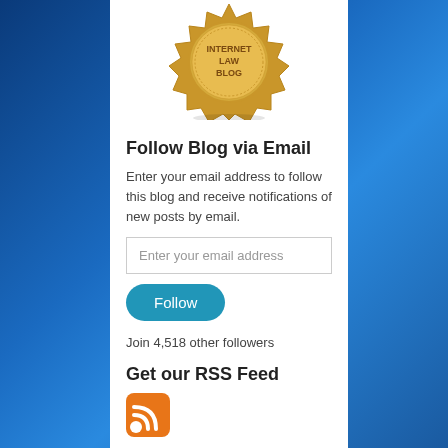[Figure (logo): Gold badge/seal with text INTERNET LAW BLOG]
Follow Blog via Email
Enter your email address to follow this blog and receive notifications of new posts by email.
Enter your email address
Follow
Join 4,518 other followers
Get our RSS Feed
[Figure (logo): RSS feed orange icon]